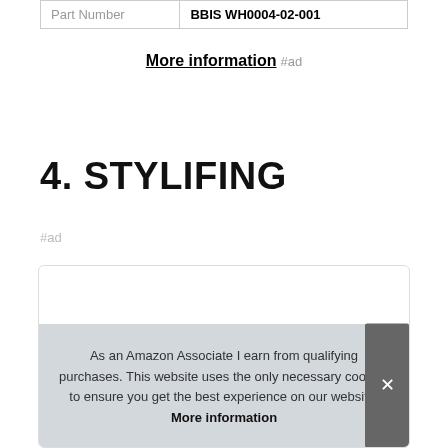| Part Number | BBIS WH0004-02-001 |
| --- | --- |
More information #ad
4. STYLIFING
#ad
[Figure (screenshot): Product card box with partial product image at bottom]
As an Amazon Associate I earn from qualifying purchases. This website uses the only necessary cookies to ensure you get the best experience on our website. More information